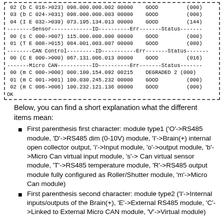[Figure (screenshot): Terminal/console output showing module listing with columns for index, type, ID, error code, status, and value in parentheses. Sections include Sensor, CAN Control, and Micro CAN. Final line shows OK.]
Below, you can find a short explanation what the different items mean:
First parenthesis first character: module type1 ('O'->RS485 module, 'D'->RS485 dim (0-10V) module, 'I'->Brain(+) internal open collector output, 'i'->Input module, 'o'->output module, 'b'->Micro Can virtual input module, 's'-> Can virtual sensor module, 'T'->RS485 temperature module, 'R'->RS485 output module fully configured as Roller/Shutter module, 'm'->Micro Can module)
First parenthesis second character: module type2 ('I'->Internal inputs/outputs of the Brain(+), 'E'->External RS485 module, 'C'->Linked to External Micro CAN module, 'V'->Virtual module)